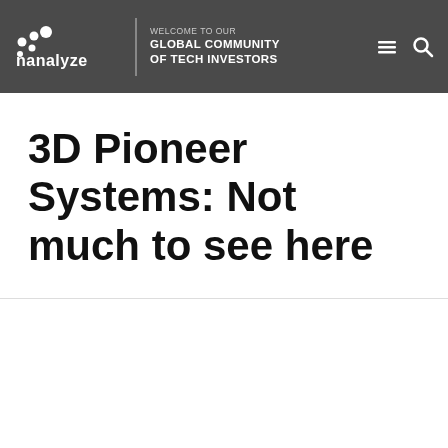nanalyze — WELCOME TO OUR GLOBAL COMMUNITY OF TECH INVESTORS
3D Pioneer Systems: Not much to see here